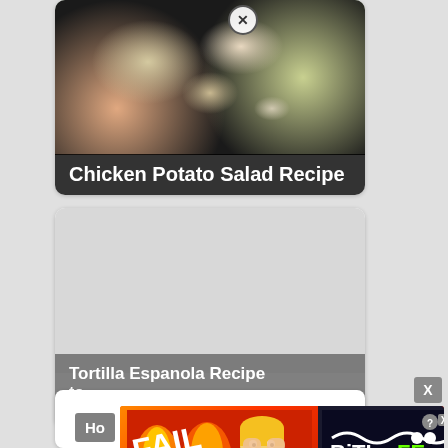[Figure (photo): Recipe card showing Chicken Potato Salad Recipe with food photo and title overlay]
[Figure (photo): Recipe card showing Tortilla Espanola Recipe with light gray placeholder image and title overlay with close X button]
[Figure (photo): Video player overlay showing food dish (colorful stir-fry with tofu and vegetables) with play button, Panlasang Pinoy logo, and presenter person on right side]
[Figure (photo): Partial recipe card at bottom with 'Ho...' label text visible]
[Figure (screenshot): BitLife advertisement banner with 'FAIL' text, animated character, flames, BitLife logo, question mark button, close X button, and 'START A NEW LIFE' tagline on dark background with tilde design]
X
Ho...